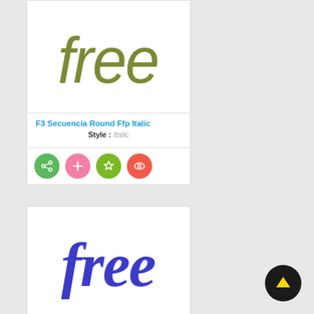[Figure (illustration): Font preview card showing 'free' in olive/yellow-green italic style (F3 Secuencia Round Ffp Italic). Card includes font name in blue, style label 'Style : Italic', and four circular action buttons (share, add, star, eye).]
F3 Secuencia Round Ffp Italic
Style :  Italic
[Figure (illustration): Font preview card showing 'free' in dark blue/purple bold italic serif style. Partially visible at bottom of page.]
[Figure (illustration): Black circular button with yellow upward arrow in bottom-right corner.]